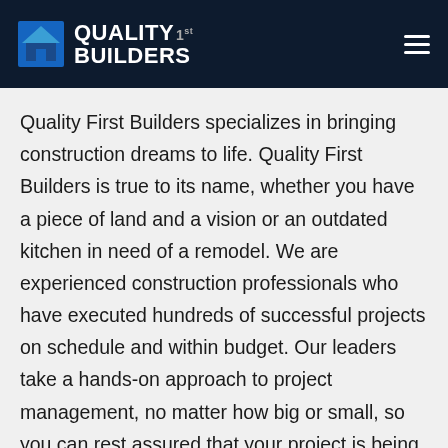QUALITY 1st BUILDERS
Quality First Builders specializes in bringing construction dreams to life. Quality First Builders is true to its name, whether you have a piece of land and a vision or an outdated kitchen in need of a remodel. We are experienced construction professionals who have executed hundreds of successful projects on schedule and within budget. Our leaders take a hands-on approach to project management, no matter how big or small, so you can rest assured that your project is being managed by a reliable and trustworthy professional.